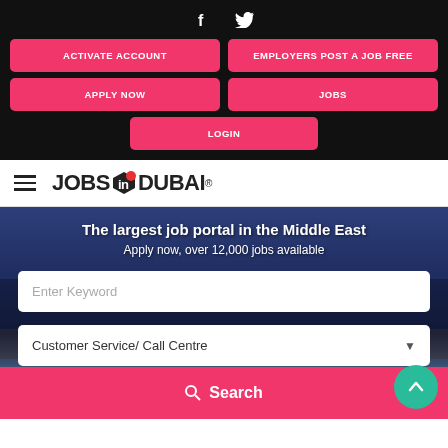[Figure (screenshot): Social media icons: Facebook (f) and Twitter (bird) on black background]
ACTIVATE ACCOUNT
EMPLOYERS POST A JOB FREE
APPLY NOW
JOBS
LOGIN
[Figure (logo): JOBS IN DUBAI logo with red icon]
The largest job portal in the Middle East
Apply now, over 12,000 jobs available
Enter Keyword
Customer Service/ Call Centre
Search